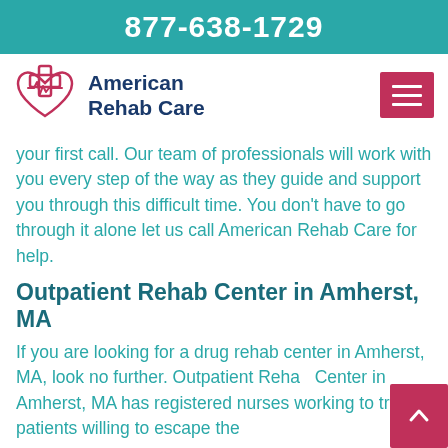877-638-1729
[Figure (logo): American Rehab Care logo with heart and cross icon in pink/teal]
your first call. Our team of professionals will work with you every step of the way as they guide and support you through this difficult time. You don't have to go through it alone let us call American Rehab Care for help.
Outpatient Rehab Center in Amherst, MA
If you are looking for a drug rehab center in Amherst, MA, look no further. Outpatient Rehab Center in Amherst, MA has registered nurses working to treat patients willing to escape the